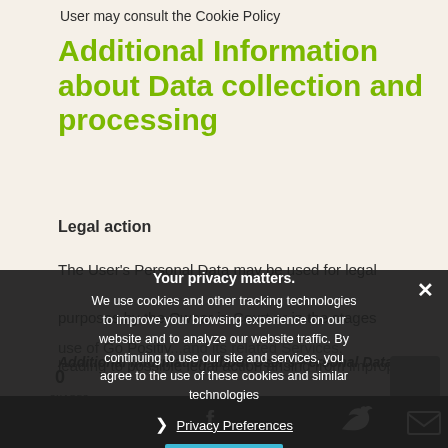User may consult the Cookie Policy
Additional Information about Data collection and processing
Legal action
The User's Personal Data may be used for legal purposes by the Owner in Court or in the stages leading to possible legal action arising from improper use of Go Positiv... and its related Services.
Additional information about User's Personal Data
In addition to the information contained in this
[Figure (other): Cookie consent overlay popup with close button (×), title 'Your privacy matters.', body text about cookies and tracking technologies, a 'Privacy Preferences' link with chevron, and an 'I Agree' button in teal/cyan color.]